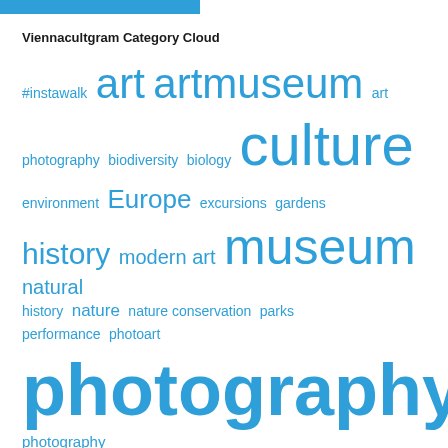Viennacultgram Category Cloud
[Figure (infographic): Word cloud showing categories for Viennacultgram. Words in various sizes representing frequency/importance: #instawalk (small), art (large), artmuseum (large), art (small), photography (small), biodiversity (small), biology (small), culture (very large), environment (small), Europe (medium), excursions (small), gardens (small), history (medium), modern art (medium), museum (very large), natural (medium), history (small), nature (medium), nature conservation (small), parks (small), performance (small), photoart (small), photography (very large), photography (small). All words are in blue color.]